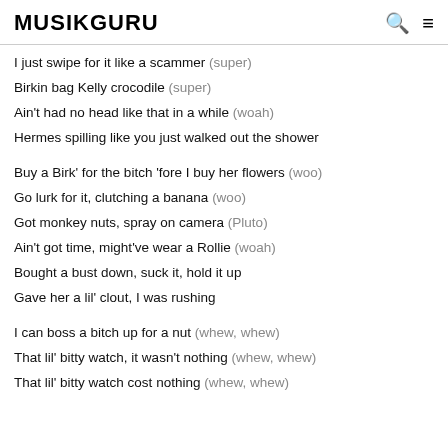MUSIKGURU
I just swipe for it like a scammer (super)
Birkin bag Kelly crocodile (super)
Ain't had no head like that in a while (woah)
Hermes spilling like you just walked out the shower
Buy a Birk' for the bitch 'fore I buy her flowers (woo)
Go lurk for it, clutching a banana (woo)
Got monkey nuts, spray on camera (Pluto)
Ain't got time, might've wear a Rollie (woah)
Bought a bust down, suck it, hold it up
Gave her a lil' clout, I was rushing
I can boss a bitch up for a nut (whew, whew)
That lil' bitty watch, it wasn't nothing (whew, whew)
That lil' bitty watch cost nothing (whew, whew)